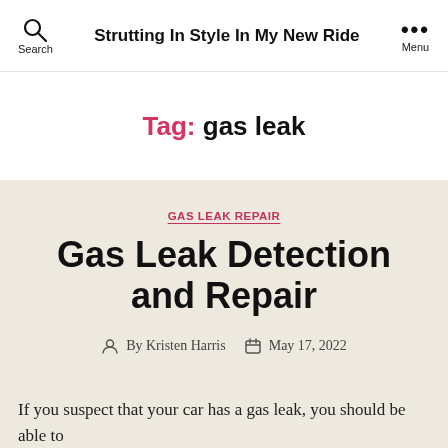Search   Strutting In Style In My New Ride   ••• Menu
Tag: gas leak
GAS LEAK REPAIR
Gas Leak Detection and Repair
By Kristen Harris   May 17, 2022
If ...